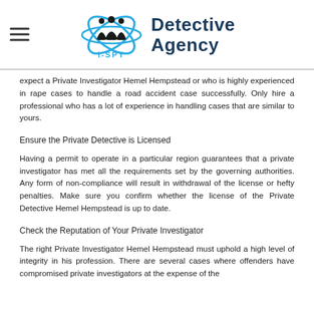[Figure (logo): I-SPY Detective Agency logo with blue X silhouette graphic and dark blue text reading 'Detective Agency']
expect a Private Investigator Hemel Hempstead or who is highly experienced in rape cases to handle a road accident case successfully. Only hire a professional who has a lot of experience in handling cases that are similar to yours.
Ensure the Private Detective is Licensed
Having a permit to operate in a particular region guarantees that a private investigator has met all the requirements set by the governing authorities. Any form of non-compliance will result in withdrawal of the license or hefty penalties. Make sure you confirm whether the license of the Private Detective Hemel Hempstead is up to date.
Check the Reputation of Your Private Investigator
The right Private Investigator Hemel Hempstead must uphold a high level of integrity in his profession. There are several cases where offenders have compromised private investigators at the expense of the complainant. The investigator you engage is definitely from the offender.